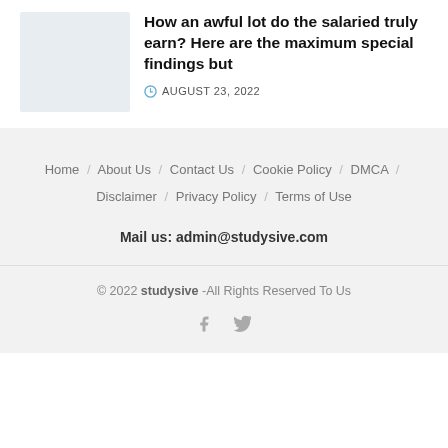[Figure (illustration): Small article thumbnail image placeholder (light blue/grey box)]
How an awful lot do the salaried truly earn? Here are the maximum special findings but
AUGUST 23, 2022
Home / About Us / Contact Us / Cookie Policy / DMCA / Disclaimer / Privacy Policy / Terms of Use
Mail us: admin@studysive.com
© 2022 studysive -All Rights Reserved To Us